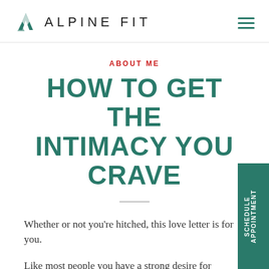ALPINE FIT
ABOUT ME
HOW TO GET THE INTIMACY YOU CRAVE
Whether or not you're hitched, this love letter is for you.
Like most people you have a strong desire for intimacy. It's a connection tha…